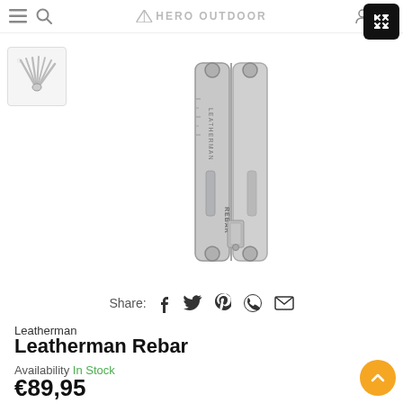Hero Outdoor - navigation header
[Figure (photo): Leatherman Rebar multi-tool shown closed, silver stainless steel body with LEATHERMAN REBAR text engraved, standing vertically. A smaller thumbnail image of the tool open showing all tools fanned out.]
Share:
Leatherman
Leatherman Rebar
Availability In Stock
€89,95
Tax included.